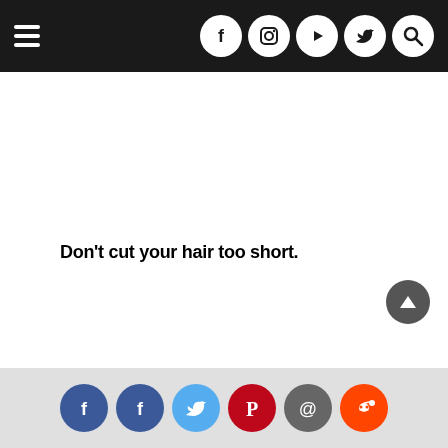Navigation bar with hamburger menu and social icons (Facebook, Instagram, YouTube, Twitter, Search)
Don't cut your hair too short.
[Figure (other): Scroll-to-top button (dark circle with upward arrow)]
Social share icons: Facebook, Facebook, Twitter, Pinterest, Email, Reddit